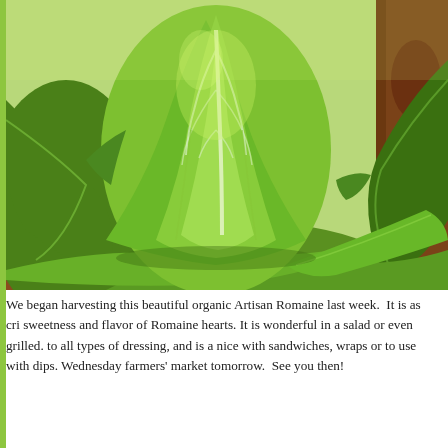[Figure (photo): Close-up photograph of organic Artisan Romaine lettuce growing in reddish-brown soil. The lettuce heads are vibrant green with prominent white leaf veins, photographed in bright sunlight.]
We began harvesting this beautiful organic Artisan Romaine last week.  It is as cri sweetness and flavor of Romaine hearts. It is wonderful in a salad or even grilled. to all types of dressing, and is a nice with sandwiches, wraps or to use with dips. Wednesday farmers' market tomorrow.  See you then!